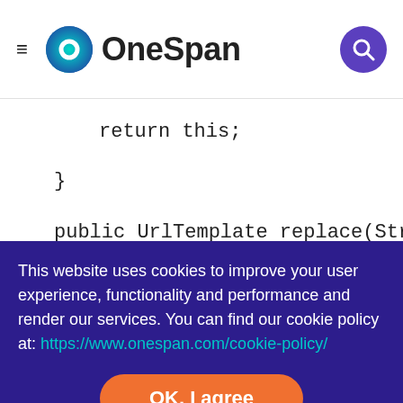[Figure (logo): OneSpan logo with teal/green circular icon and search button in purple]
return this;
}
public UrlTemplate replace(String pathParams, String
This website uses cookies to improve your user experience, functionality and performance and render our services. You can find our cookie policy at: https://www.onespan.com/cookie-policy/
OK, I agree